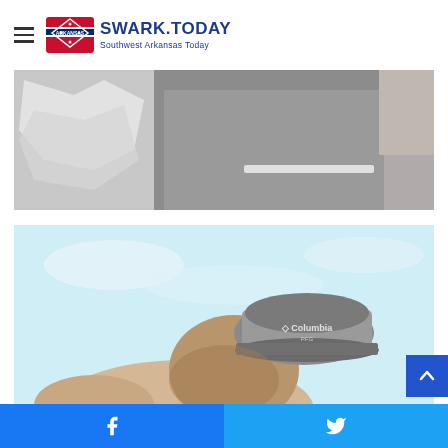SWARK.TODAY — Southwest Arkansas Today
[Figure (photo): Street scene photograph showing asphalt road with a white painted line, crumpled white paper or fabric on the left, and a grey fabric on the right]
[Figure (photo): Person wearing a grey Columbia brand baseball cap against a light blue sky background, looking downward]
Facebook share | Twitter share